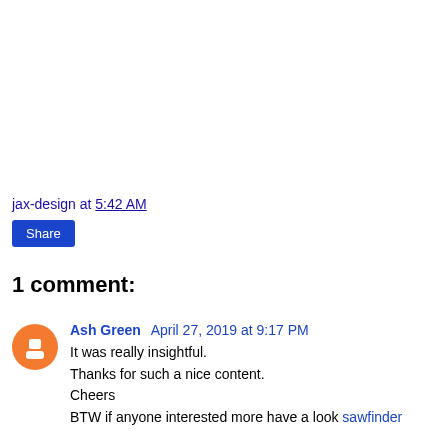jax-design at 5:42 AM
Share
1 comment:
Ash Green April 27, 2019 at 9:17 PM
It was really insightful.
Thanks for such a nice content.
Cheers
BTW if anyone interested more have a look sawfinder